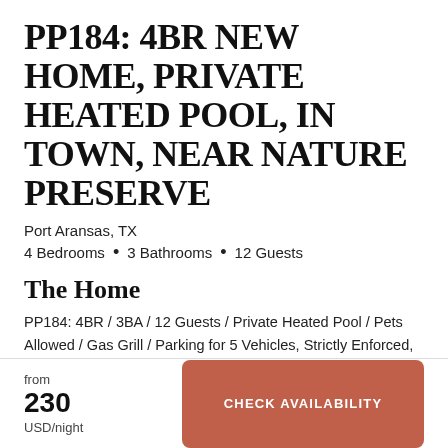PP184: 4BR NEW HOME, PRIVATE HEATED POOL, IN TOWN, NEAR NATURE PRESERVE
Port Aransas, TX
4 Bedrooms • 3 Bathrooms • 12 Guests
The Home
PP184: 4BR / 3BA / 12 Guests / Private Heated Pool / Pets Allowed / Gas Grill / Parking for 5 Vehicles, Strictly Enforced, No Garage Access
from
230
USD/night
CHECK AVAILABILITY